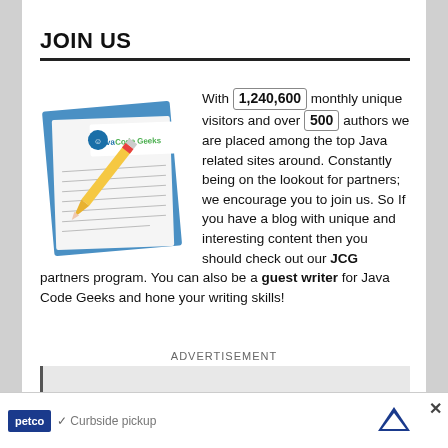JOIN US
[Figure (illustration): Java Code Geeks logo with a pencil on a paper/notepad image]
With 1,240,600 monthly unique visitors and over 500 authors we are placed among the top Java related sites around. Constantly being on the lookout for partners; we encourage you to join us. So If you have a blog with unique and interesting content then you should check out our JCG partners program. You can also be a guest writer for Java Code Geeks and hone your writing skills!
ADVERTISEMENT
ADVERTISEMENT